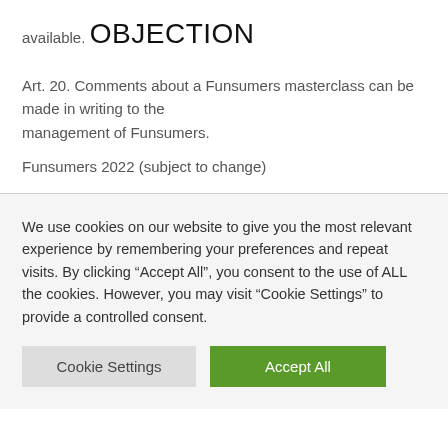available.
OBJECTION
Art. 20. Comments about a Funsumers masterclass can be made in writing to the management of Funsumers.
Funsumers 2022 (subject to change)
We use cookies on our website to give you the most relevant experience by remembering your preferences and repeat visits. By clicking “Accept All”, you consent to the use of ALL the cookies. However, you may visit “Cookie Settings” to provide a controlled consent.